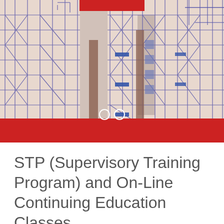[Figure (photo): Industrial scaffolding structure with blue/purple steel framework against a light beige background, with a red banner bar at the top center and a red bar at the bottom overlaid with two white circular carousel navigation dots.]
STP (Supervisory Training Program) and On-Line Continuing Education Classes